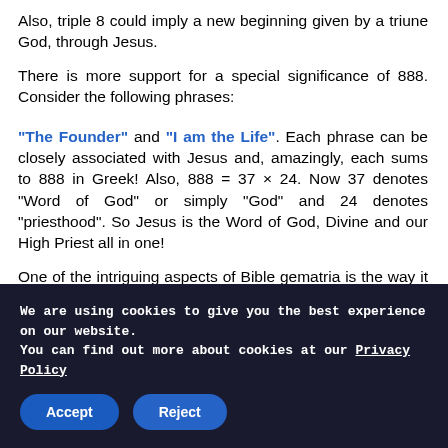Also, triple 8 could imply a new beginning given by a triune God, through Jesus.
There is more support for a special significance of 888. Consider the following phrases:
“The Founder” and “I am the Life”. Each phrase can be closely associated with Jesus and, amazingly, each sums to 888 in Greek! Also, 888 = 37 × 24. Now 37 denotes “Word of God” or simply “God” and 24 denotes “priesthood”. So Jesus is the Word of God, Divine and our High Priest all in one!
One of the intriguing aspects of Bible gematria is the way it links both Hebrew and Greek text. Consider the phrase:
We are using cookies to give you the best experience on our website.
You can find out more about cookies at our Privacy Policy
Accept
Reject